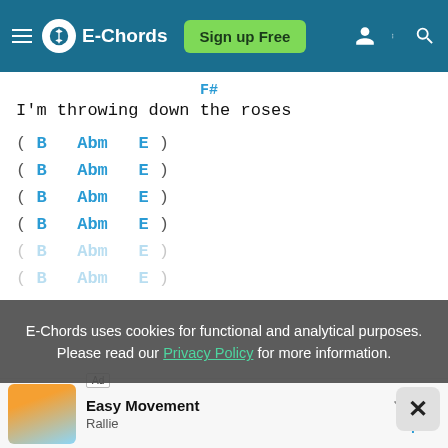E-Chords | Sign up Free
F#
I'm throwing down the roses
( B   Abm   E )
( B   Abm   E )
( B   Abm   E )
( B   Abm   E )
( B   Abm   E )
( B   Abm   E )
E-Chords uses cookies for functional and analytical purposes. Please read our Privacy Policy for more information.
Ad | Easy Movement | Rallie | Open